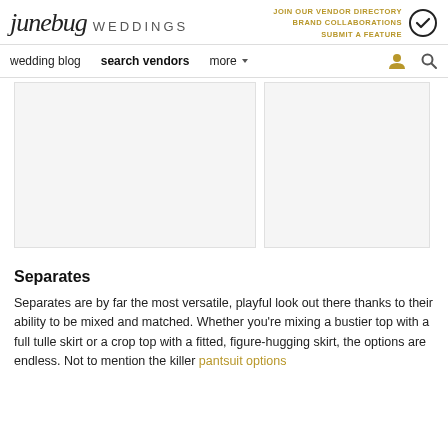junebug WEDDINGS | JOIN OUR VENDOR DIRECTORY | BRAND COLLABORATIONS | SUBMIT A FEATURE
wedding blog  search vendors  more
[Figure (photo): Two placeholder image boxes side by side - left wider, right narrower]
Separates
Separates are by far the most versatile, playful look out there thanks to their ability to be mixed and matched. Whether you're mixing a bustier top with a full tulle skirt or a crop top with a fitted, figure-hugging skirt, the options are endless. Not to mention the killer pantsuit options.